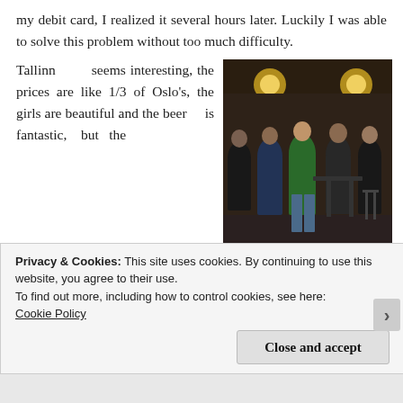my debit card, I realized it several hours later. Luckily I was able to solve this problem without too much difficulty.
Tallinn seems interesting, the prices are like 1/3 of Oslo's, the girls are beautiful and the beer is fantastic, but the weather … man it's cold. Musically, if Oslo is A-
[Figure (photo): Group photo of five people standing together in a dimly lit indoor venue with hanging pendant lights in the background.]
Privacy & Cookies: This site uses cookies. By continuing to use this website, you agree to their use.
To find out more, including how to control cookies, see here:
Cookie Policy
Close and accept